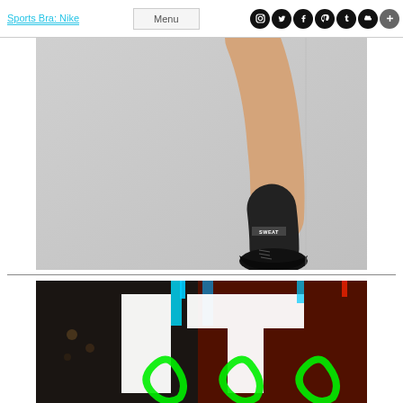Sports Bra: Nike | Menu | [social icons: Instagram, Twitter, Facebook, Pinterest, Tumblr, SoundCloud, Plus]
[Figure (photo): A leg wearing a black Nike sock labeled SWEAT and a black lace-up boot/shoe, suspended in mid-air against a light gray background]
[Figure (photo): Colorful neon sign letters IT partially visible with bright green neon mushroom/decorative shapes behind on a dark background]